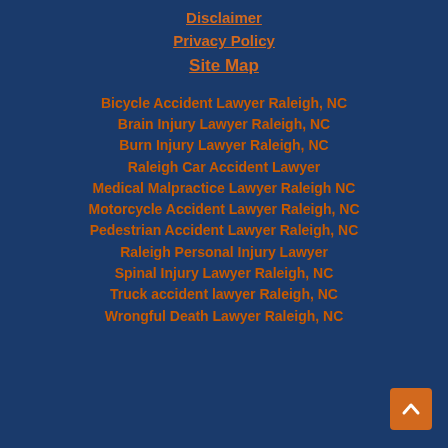Disclaimer
Privacy Policy
Site Map
Bicycle Accident Lawyer Raleigh, NC
Brain Injury Lawyer Raleigh, NC
Burn Injury Lawyer Raleigh, NC
Raleigh Car Accident Lawyer
Medical Malpractice Lawyer Raleigh NC
Motorcycle Accident Lawyer Raleigh, NC
Pedestrian Accident Lawyer Raleigh, NC
Raleigh Personal Injury Lawyer
Spinal Injury Lawyer Raleigh, NC
Truck accident lawyer Raleigh, NC
Wrongful Death Lawyer Raleigh, NC